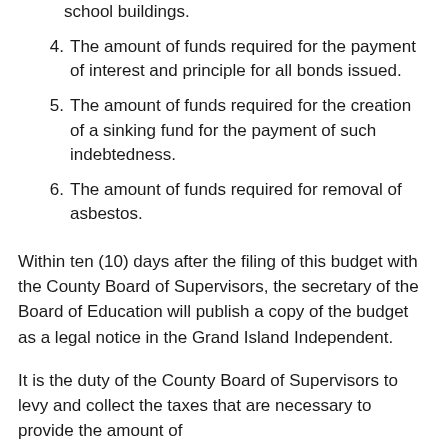school buildings.
4. The amount of funds required for the payment of interest and principle for all bonds issued.
5. The amount of funds required for the creation of a sinking fund for the payment of such indebtedness.
6. The amount of funds required for removal of asbestos.
Within ten (10) days after the filing of this budget with the County Board of Supervisors, the secretary of the Board of Education will publish a copy of the budget as a legal notice in the Grand Island Independent.
It is the duty of the County Board of Supervisors to levy and collect the taxes that are necessary to provide the amount of